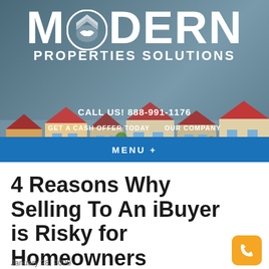[Figure (logo): Modern Properties Solutions logo with house/handshake icon, suburb background with illustrated houses]
CALL US! 888-991-1176
GET A CASH OFFER TODAY   OUR COMPANY
MENU +
4 Reasons Why Selling To An iBuyer is Risky for Homeowners
January 28, 2020